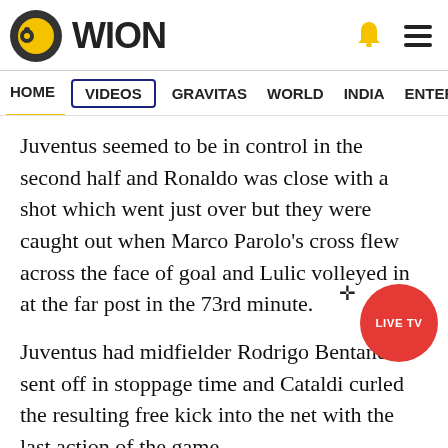WION
HOME  VIDEOS  GRAVITAS  WORLD  INDIA  ENTERTAINMENT  SPORT
Juventus seemed to be in control in the second half and Ronaldo was close with a shot which went just over but they were caught out when Marco Parolo's cross flew across the face of goal and Lulic volleyed in at the far post in the 73rd minute.
Juventus had midfielder Rodrigo Bentancur sent off in stoppage time and Cataldi curled the resulting free kick into the net with the last action of the game.
The Supercup final is often played abroad and